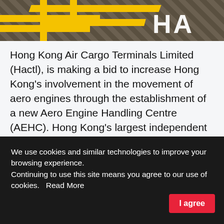[Figure (photo): Aerial or close-up view of a tarmac/road surface with yellow and white painted markings, showing 'HA' letters in white and yellow boundary lines on a dark pavement surface.]
Hong Kong Air Cargo Terminals Limited (Hactl), is making a bid to increase Hong Kong's involvement in the movement of aero engines through the establishment of a new Aero Engine Handling Centre (AEHC). Hong Kong's largest independent handler said the city state is one of only two locations in Asia that have certified repair, modification and overhaul facilities for Rolls-Royce Trent engines, the ones
We use cookies and similar technologies to improve your browsing experience.
Continuing to use this site means you agree to our use of cookies.   Read More